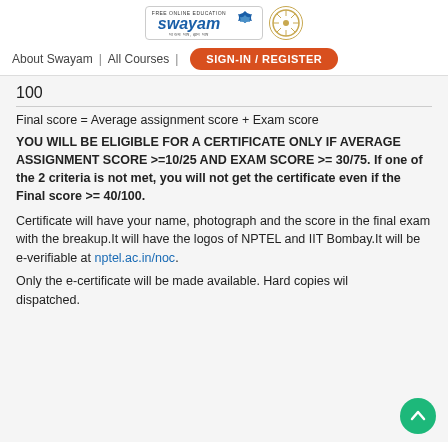[Figure (logo): Swayam and IIT logo in header navigation bar]
About Swayam | All Courses | SIGN-IN / REGISTER
100
Final score = Average assignment score + Exam score
YOU WILL BE ELIGIBLE FOR A CERTIFICATE ONLY IF AVERAGE ASSIGNMENT SCORE >=10/25 AND EXAM SCORE >= 30/75. If one of the 2 criteria is not met, you will not get the certificate even if the Final score >= 40/100.
Certificate will have your name, photograph and the score in the final exam with the breakup.It will have the logos of NPTEL and IIT Bombay.It will be e-verifiable at nptel.ac.in/noc.
Only the e-certificate will be made available. Hard copies will be dispatched.